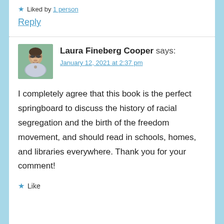★ Liked by 1 person
Reply
Laura Fineberg Cooper says:
January 12, 2021 at 2:37 pm
[Figure (photo): Avatar photo of Laura Fineberg Cooper, a woman with glasses and short dark hair, wearing a light-colored top, outdoors with green foliage background]
I completely agree that this book is the perfect springboard to discuss the history of racial segregation and the birth of the freedom movement, and should read in schools, homes, and libraries everywhere. Thank you for your comment!
★ Like